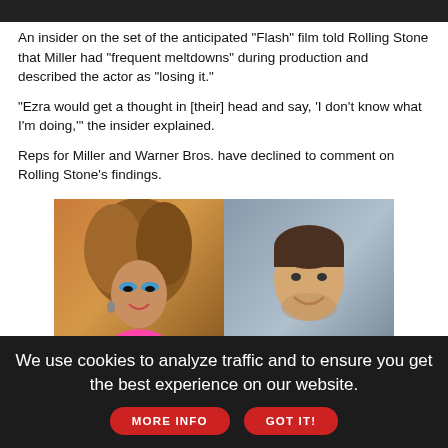[Figure (photo): Dark image bar at top of page, partial photo cropped]
An insider on the set of the anticipated "Flash" film told Rolling Stone that Miller had "frequent meltdowns" during production and described the actor as "losing it."
"Ezra would get a thought in [their] head and say, 'I don't know what I'm doing,'" the insider explained.
Reps for Miller and Warner Bros. have declined to comment on Rolling Stone's findings.
[Figure (photo): Two people side by side: on the left a person in drag with big hair, blue eyeshadow and pink outfit; on the right a young man smiling in a dark polo shirt. LGBTO Nation Authentic Voices Of banner overlaid at bottom.]
We use cookies to analyze traffic and to ensure you get the best experience on our website.
MORE INFO
GOT IT!